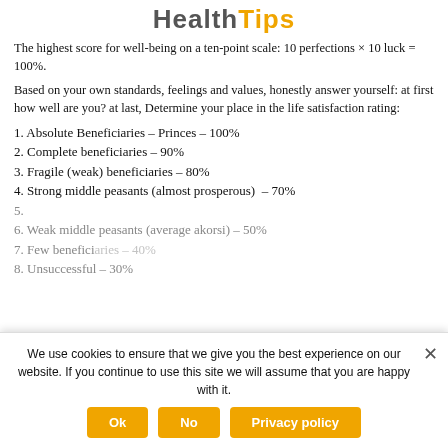HealthTips
The highest score for well-being on a ten-point scale: 10 perfections × 10 luck = 100%.
Based on your own standards, feelings and values, honestly answer yourself: at first how well are you? at last, Determine your place in the life satisfaction rating:
1. Absolute Beneficiaries – Princes – 100%
2. Complete beneficiaries – 90%
3. Fragile (weak) beneficiaries – 80%
4. Strong middle peasants (almost prosperous)  – 70%
5. [partially obscured]
6. Weak middle peasants (average akorsi) – 50%
7. Few beneficiaries – 40%
8. Unsuccessful – 30%